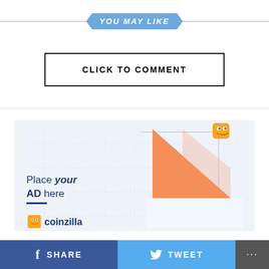YOU MAY LIKE
CLICK TO COMMENT
[Figure (illustration): Advertisement placeholder showing an orange triangle graphic with a small cartoon emoji character, lines forming a chart frame, and the text 'Place your AD here' with a blue underline, plus partial coinzilla logo at bottom]
SHARE  TWEET  ...